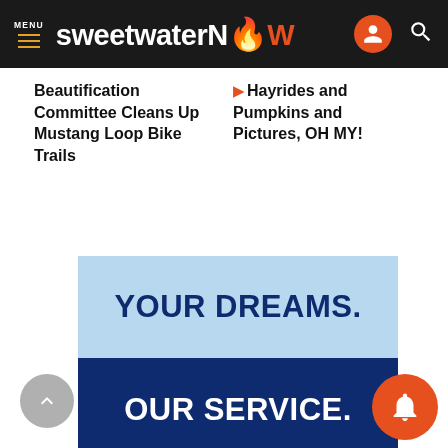MENU sweetwaterNOW
Beautification Committee Cleans Up Mustang Loop Bike Trails
Hayrides and Pumpkins and Pictures, OH MY!
[Figure (screenshot): Advertisement banner with two sections: light blue top reading 'YOUR DREAMS.' in dark navy bold text, and dark navy bottom reading 'OUR SERVICE.' in white bold text, with a white footer showing a person icon and a plus icon.]